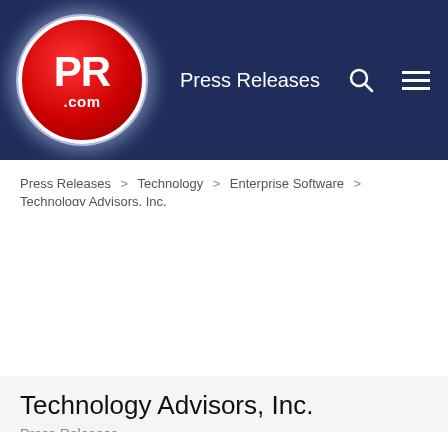PR.com — Press Releases navigation header
Press Releases > Technology > Enterprise Software > Technology Advisors, Inc.
Technology Advisors, Inc.
Press Releases
Technology Advisors to Host